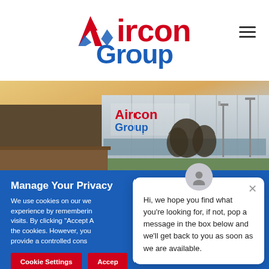[Figure (logo): Aircon Group logo with red 'Aircon' text and blue 'Group' text, with a blue and red stylized arrow/chevron on the A]
[Figure (photo): Exterior photo of an Aircon Group building/warehouse with the Aircon Group sign on the facade, taken at dusk with trees and lamp posts in background]
Manage Your Privacy
We use cookies on our we experience by remembering visits. By clicking "Accept A the cookies. However, you provide a controlled cons
Cookie Settings  Accep
[Figure (screenshot): Chat popup overlay with avatar icon, close button, and message: Hi, we hope you find what you're looking for, if not, pop a message in the box below and we'll get back to you as soon as we are available.]